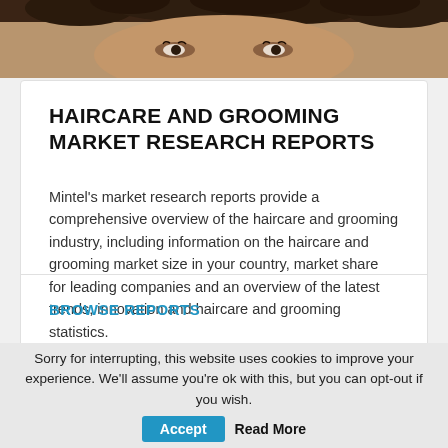[Figure (photo): Close-up photo of a woman with curly hair, eyes visible, warm skin tones]
HAIRCARE AND GROOMING MARKET RESEARCH REPORTS
Mintel's market research reports provide a comprehensive overview of the haircare and grooming industry, including information on the haircare and grooming market size in your country, market share for leading companies and an overview of the latest trends, innovation and haircare and grooming statistics.
BROWSE REPORTS
Sorry for interrupting, this website uses cookies to improve your experience. We'll assume you're ok with this, but you can opt-out if you wish. Accept Read More